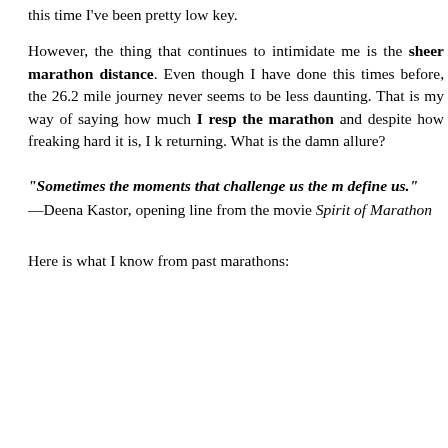this time I've been pretty low key.
However, the thing that continues to intimidate me is the sheer marathon distance. Even though I have done this times before, the 26.2 mile journey never seems to be less daunting. That is my way of saying how much I respect the marathon and despite how freaking hard it is, I keep returning. What is the damn allure?
“Sometimes the moments that challenge us the most define us.”
—Deena Kastor, opening line from the movie Spirit of the Marathon
Here is what I know from past marathons: